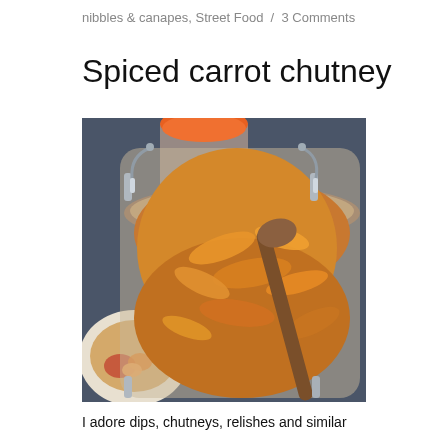nibbles & canapes, Street Food / 3 Comments
Spiced carrot chutney
[Figure (photo): Top-down view of a glass jar filled with spiced carrot chutney, a wooden spoon inserted into it. A second jar with an orange lid is partially visible in the background, and a small dish with chutney is in the lower left.]
I adore dips, chutneys, relishes and similar